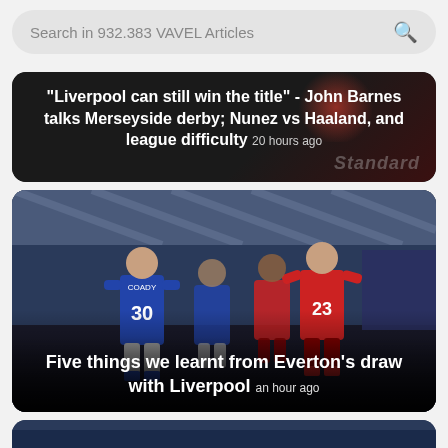Search in 932.383 VAVEL Articles
"Liverpool can still win the title" - John Barnes talks Merseyside derby; Nunez vs Haaland, and league difficulty  20 hours ago
[Figure (photo): Football players in an Everton vs Liverpool match. Player wearing blue Everton kit with number 30 (COADY) facing a Liverpool player in red number 23. Stadium crowd in background.]
Five things we learnt from Everton's draw with Liverpool  an hour ago
[Figure (photo): Partial view of another football-related image at bottom of page, cut off.]